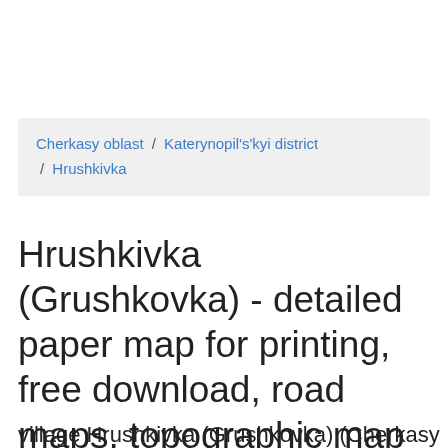Cherkasy oblast / Katerynopil's'kyi district / Hrushkivka
Hrushkivka (Grushkovka) - detailed paper map for printing, free download, road maps, topographic map in jpg
village Hrushkivka (Grushkovka) (Cherkasy...